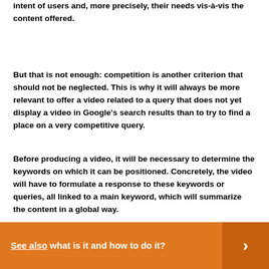intent of users and, more precisely, their needs vis-à-vis the content offered.
But that is not enough: competition is another criterion that should not be neglected. This is why it will always be more relevant to offer a video related to a query that does not yet display a video in Google's search results than to try to find a place on a very competitive query.
Before producing a video, it will be necessary to determine the keywords on which it can be positioned. Concretely, the video will have to formulate a response to these keywords or queries, all linked to a main keyword, which will summarize the content in a global way.
See also  what is it and how to do it?